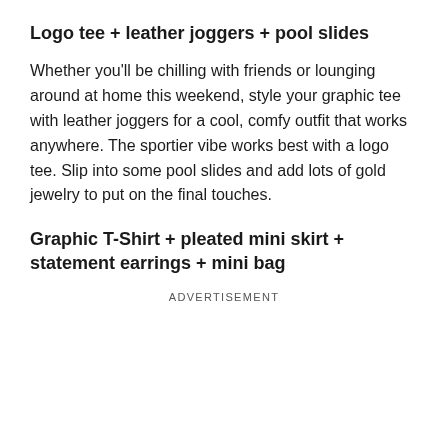Logo tee + leather joggers + pool slides
Whether you'll be chilling with friends or lounging around at home this weekend, style your graphic tee with leather joggers for a cool, comfy outfit that works anywhere. The sportier vibe works best with a logo tee. Slip into some pool slides and add lots of gold jewelry to put on the final touches.
Graphic T-Shirt + pleated mini skirt + statement earrings + mini bag
ADVERTISEMENT